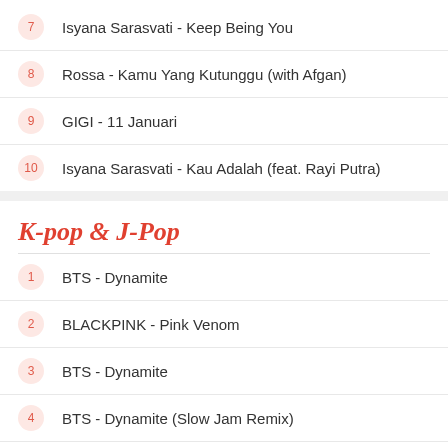7 Isyana Sarasvati - Keep Being You
8 Rossa - Kamu Yang Kutunggu (with Afgan)
9 GIGI - 11 Januari
10 Isyana Sarasvati - Kau Adalah (feat. Rayi Putra)
K-pop & J-Pop
1 BTS - Dynamite
2 BLACKPINK - Pink Venom
3 BTS - Dynamite
4 BTS - Dynamite (Slow Jam Remix)
5 BTS - Dynamite (Tropical Remix)